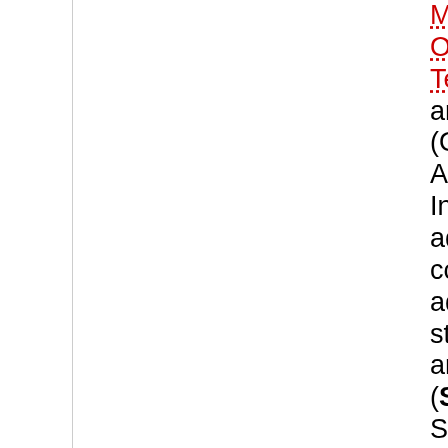Meteorological Organization, International Telecommunication Union, and ⇒ OASIS (Organization for the Advancement of Structured Information Standards) are advocates of CAP and continue to promote the adoption of the warning standard. Sahana Alerting and Messaging Broker (SAMB) is essentially a Sahana Eden template designed for Multi-Agency Situational-Awareness. Moreover it